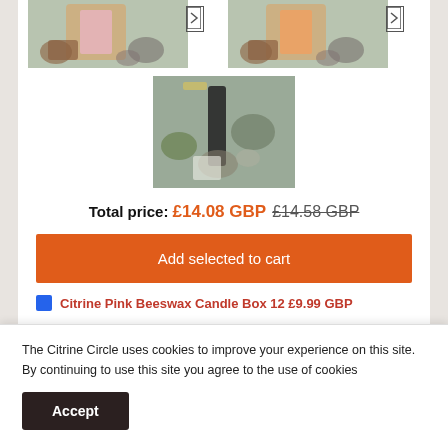[Figure (photo): Two product photos at top showing hands holding pink and orange candle boxes with stones background, with navigation arrows]
[Figure (photo): Center product photo showing a hand holding a black candle with cacti and stones in background]
Total price: £14.08 GBP £14.58 GBP
Add selected to cart
The Citrine Circle uses cookies to improve your experience on this site. By continuing to use this site you agree to the use of cookies
Accept